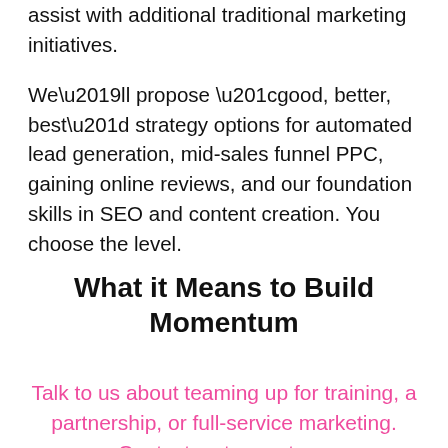assist with additional traditional marketing initiatives.
We’ll propose “good, better, best” strategy options for automated lead generation, mid-sales funnel PPC, gaining online reviews, and our foundation skills in SEO and content creation. You choose the level.
What it Means to Build Momentum
Talk to us about teaming up for training, a partnership, or full-service marketing. Contact us to meet our